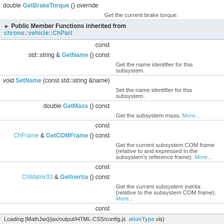| Return | Function |
| --- | --- |
| double GetBrakeTorque () override | Get the current brake torque. |
Public Member Functions inherited from chrono::vehicle::ChPart
| Return | Function/Description |
| --- | --- |
| const std::string & GetName () const | Get the name identifier for this subsystem. |
| void SetName (const std::string &name) | Set the name identifier for this subsystem. |
| double GetMass () const | Get the subsystem mass. More... |
| const ChFrame & GetCOMFrame () const | Get the current subsystem COM frame (relative to and expressed in the subsystem's reference frame). More... |
| const ChMatrix33 & GetInertia () const | Get the current subsystem inertia (relative to the subsystem COM frame). More... |
| const ChFrame & GetTransform () const | Get the current subsystem position relative to the global frame. More... |
Loading [MathJax]/jax/output/HTML-CSS/config.js ationType vis)